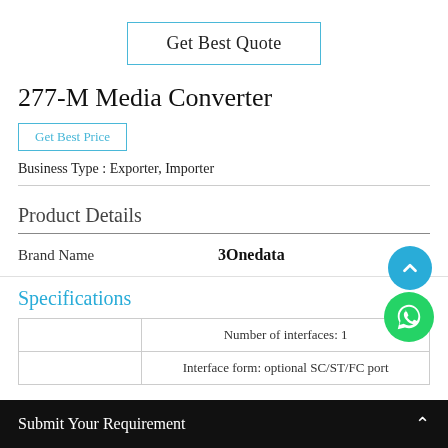Get Best Quote
277-M Media Converter
Get Best Price
Business Type : Exporter, Importer
Product Details
|  | Brand Name | 3Onedata |
| --- | --- | --- |
|  | Brand Name | 3Onedata |
Specifications
|  | Value |
| --- | --- |
|  | Number of interfaces: 1 |
|  | Interface form: optional SC/ST/FC port |
Submit Your Requirement